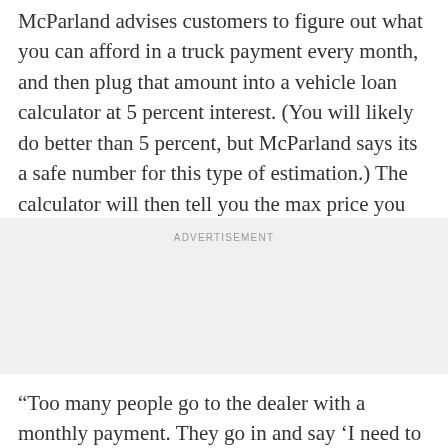McParland advises customers to figure out what you can afford in a truck payment every month, and then plug that amount into a vehicle loan calculator at 5 percent interest. (You will likely do better than 5 percent, but McParland says its a safe number for this type of estimation.) The calculator will then tell you the max price you can spend on a new vehicle.
ADVERTISEMENT
“Too many people go to the dealer with a monthly payment. They go in and say ‘I need to pay X amount of dollars each month,’ and all of a sudden